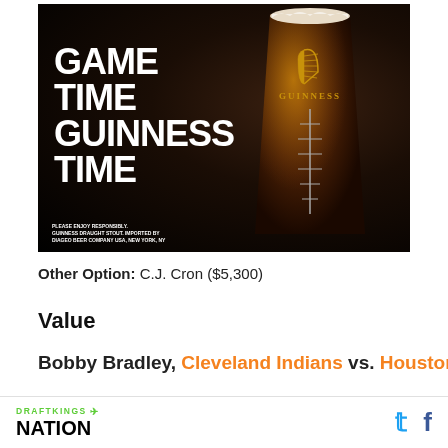[Figure (photo): Guinness beer advertisement showing a pint glass of Guinness Draught Stout with a football seam pattern on a dark background. Large white text reads GAME TIME GUINNESS TIME. Small disclaimer text at bottom left reads PLEASE ENJOY RESPONSIBLY. GUINNESS DRAUGHT STOUT. IMPORTED BY DIAGEO BEER COMPANY USA, NEW YORK, NY]
Other Option: C.J. Cron ($5,300)
Value
Bobby Bradley, Cleveland Indians vs. Houston
DRAFTKINGS NATION